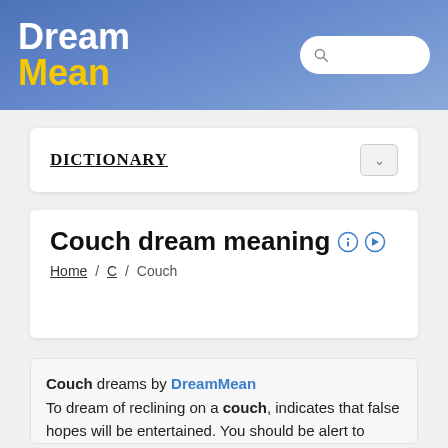Dream Mean
DICTIONARY
Couch dream meaning
Home / C / Couch
Couch dreams by DreamMean To dream of reclining on a couch, indicates that false hopes will be entertained. You should be alert to every change of your affairs, for only in this way will your hopes be realised.